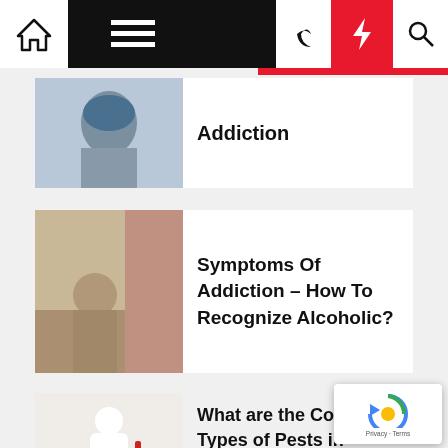Navigation bar with home, menu, moon, bolt, search icons
Addiction
Symptoms Of Addiction – How To Recognize Alcoholic?
What are the Common Types of Pests in Meridian, ID?
Possible Risk Factors with Dental Implant Failure